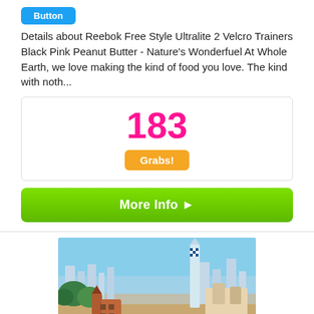[Figure (other): Blue button/badge at top]
Details about Reebok Free Style Ultralite 2 Velcro Trainers Black Pink Peanut Butter - Nature's Wonderfuel At Whole Earth, we love making the kind of food you love. The kind with noth...
183
Grabs!
More Info ➤
[Figure (photo): Photo of Park Güell in Barcelona, Spain — colorful mosaic architecture with city skyline in background]
Free Trip To Barcelona